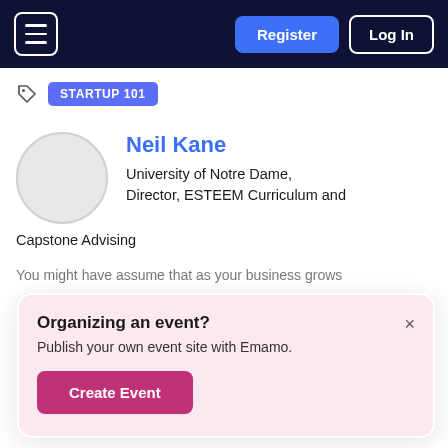Register  Log In
STARTUP 101
Neil Kane
University of Notre Dame, Director, ESTEEM Curriculum and Capstone Advising
You might assume that as your business grows
Organizing an event?
Publish your own event site with Emamo.
Create Event
product on Amazon.com which saw sales